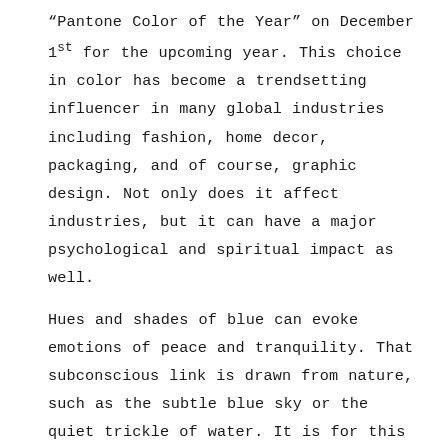“Pantone Color of the Year” on December 1st for the upcoming year. This choice in color has become a trendsetting influencer in many global industries including fashion, home decor, packaging, and of course, graphic design. Not only does it affect industries, but it can have a major psychological and spiritual impact as well.

Hues and shades of blue can evoke emotions of peace and tranquility. That subconscious link is drawn from nature, such as the subtle blue sky or the quiet trickle of water. It is for this reason you might choose blue in a bedroom or bathroom for a calming and serene retreat after a busy and chaotic day. A cool tone like blue can also serve as a place to rest your eyes in a design layout that is busy or full of patterns. Providing a